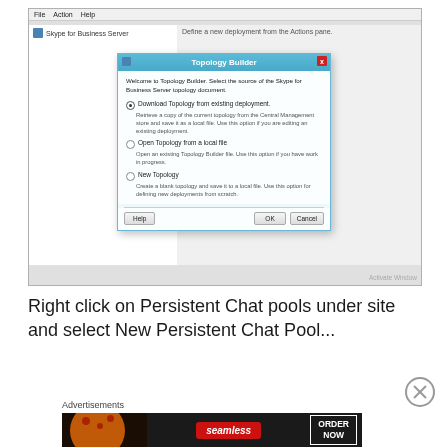[Figure (screenshot): Skype for Business Server Topology Builder dialog screenshot showing options: Download Topology from existing deployment (selected), Open Topology from a local file, New Topology. Buttons: Help, OK, Cancel.]
Right click on Persistent Chat pools under site and select New Persistent Chat Pool...
[Figure (screenshot): Seamless food ordering advertisement banner with pizza image and ORDER NOW button]